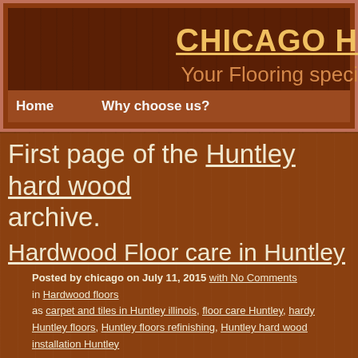Chicago H[ardwood Floors] — Your Flooring speci[alist]
Home   Why choose us?
First page of the Huntley hard wood archive.
Hardwood Floor care in Huntley
Posted by chicago on July 11, 2015 with No Comments in Hardwood floors as carpet and tiles in Huntley illinois, floor care Huntley, hardwood Huntley floors, Huntley floors refinishing, Huntley hard wood installation Huntley
Expand storage area by setting up closet or pantry organizers cabinet hardware with ones which are unique and attractive. A same with your plain white wall plates. Rent a floor buffer, and wood floors in Huntley. A bit of cash in addition to a splash of c